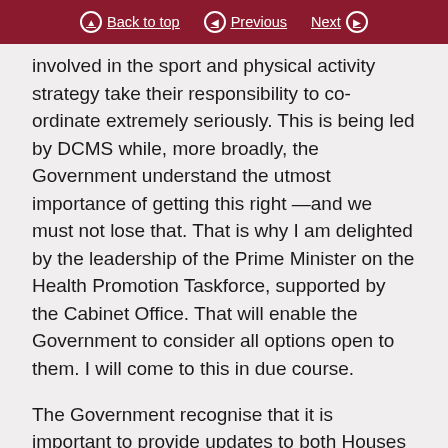Back to top | Previous | Next
involved in the sport and physical activity strategy take their responsibility to co-ordinate extremely seriously. This is being led by DCMS while, more broadly, the Government understand the utmost importance of getting this right —and we must not lose that. That is why I am delighted by the leadership of the Prime Minister on the Health Promotion Taskforce, supported by the Cabinet Office. That will enable the Government to consider all options open to them. I will come to this in due course.
The Government recognise that it is important to provide updates to both Houses on the progress of the strategy and will publish arrangements for that reporting in the strategy. I also assure noble Lords